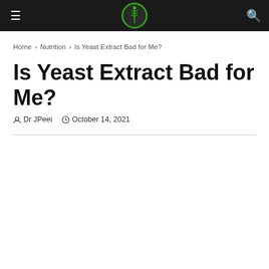≡ [logo] 🔍
Home › Nutrition › Is Yeast Extract Bad for Me?
Is Yeast Extract Bad for Me?
Dr JPeei   October 14, 2021